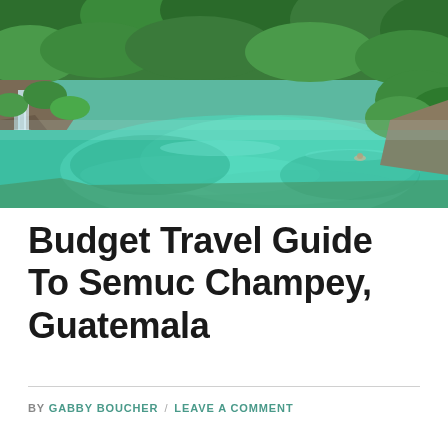[Figure (photo): A turquoise-blue natural pool or river surrounded by lush green tropical vegetation and rocky outcroppings, with a small waterfall on the left side. A swimmer is visible in the distance. This is Semuc Champey, Guatemala.]
Budget Travel Guide To Semuc Champey, Guatemala
BY GABBY BOUCHER / LEAVE A COMMENT